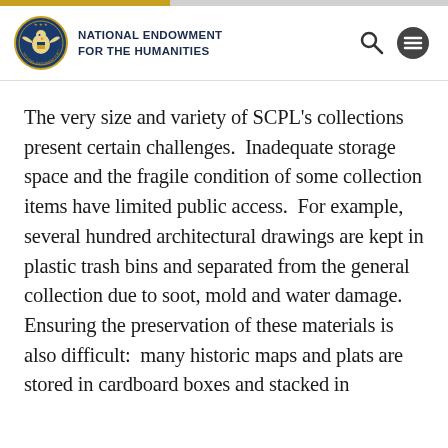NATIONAL ENDOWMENT FOR THE HUMANITIES
The very size and variety of SCPL's collections present certain challenges.  Inadequate storage space and the fragile condition of some collection items have limited public access.  For example, several hundred architectural drawings are kept in plastic trash bins and separated from the general collection due to soot, mold and water damage.  Ensuring the preservation of these materials is also difficult:  many historic maps and plats are stored in cardboard boxes and stacked in